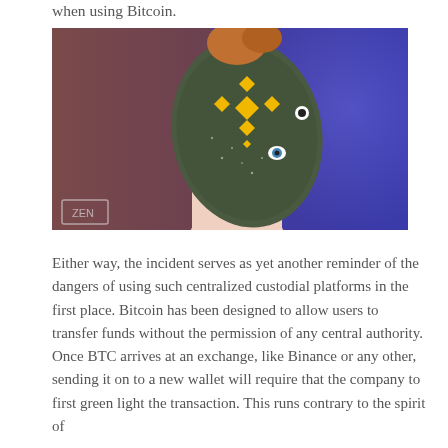when using Bitcoin.
[Figure (photo): A woman wearing a fish mask with the Binance logo (yellow diamond shapes) on it, photographed against a purple-brown background. The image has a small watermark in the lower left corner.]
Either way, the incident serves as yet another reminder of the dangers of using such centralized custodial platforms in the first place. Bitcoin has been designed to allow users to transfer funds without the permission of any central authority. Once BTC arrives at an exchange, like Binance or any other, sending it on to a new wallet will require that the company to first green light the transaction. This runs contrary to the spirit of